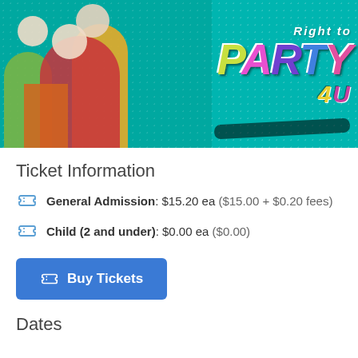[Figure (photo): Banner image showing performers/dancers against a teal/turquoise dotted background with colorful graffiti-style text reading 'Right to Party']
Ticket Information
General Admission: $15.20 ea ($15.00 + $0.20 fees)
Child (2 and under): $0.00 ea ($0.00)
Buy Tickets
Dates